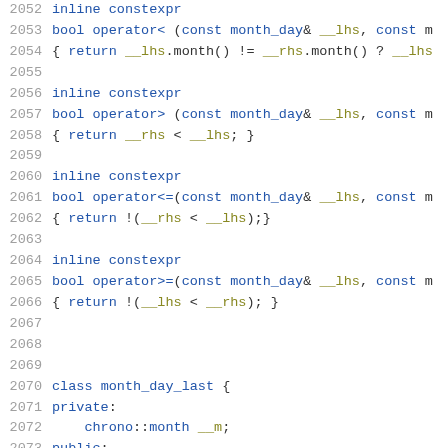[Figure (screenshot): Source code listing showing C++ inline constexpr operator overloads for month_day and beginning of class month_day_last, with line numbers 2052-2073]